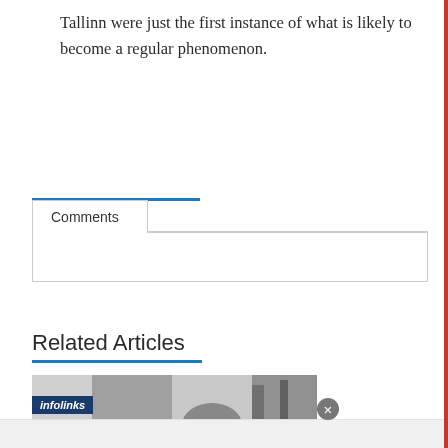Tallinn were just the first instance of what is likely to become a regular phenomenon.
Comments
Related Articles
[Figure (photo): Black and white photo strip showing partial figures, partially obscured by infolinks advertisement overlay with close button]